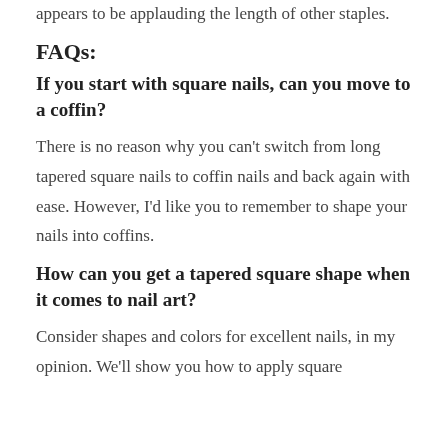appears to be applauding the length of other staples.
FAQs:
If you start with square nails, can you move to a coffin?
There is no reason why you can't switch from long tapered square nails to coffin nails and back again with ease. However, I'd like you to remember to shape your nails into coffins.
How can you get a tapered square shape when it comes to nail art?
Consider shapes and colors for excellent nails, in my opinion. We'll show you how to apply square